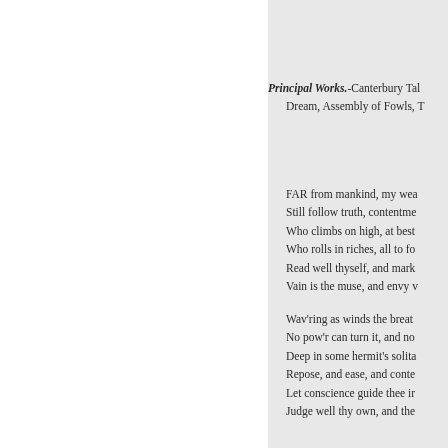Principal Works.-Canterbury Tal... Dream, Assembly of Fowls, T...
FAR from mankind, my wea...
Still follow truth, contentme...
Who climbs on high, at best...
Who rolls in riches, all to fo...
Read well thyself, and mark...
Vain is the muse, and envy v...
Wav'ring as winds the breat...
No pow'r can turn it, and no...
Deep in some hermit's solita...
Repose, and ease, and conte...
Let conscience guide thee ir...
Judge well thy own, and the...